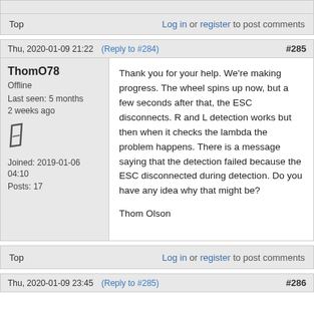Top    Log in or register to post comments
Thu, 2020-01-09 21:22   (Reply to #284)   #285
ThomO78
Offline
Last seen: 5 months 2 weeks ago
Joined: 2019-01-06 04:10
Posts: 17
Thank you for your help. We're making progress. The wheel spins up now, but a few seconds after that, the ESC disconnects. R and L detection works but then when it checks the lambda the problem happens. There is a message saying that the detection failed because the ESC disconnected during detection. Do you have any idea why that might be?

Thom Olson
Top    Log in or register to post comments
Thu, 2020-01-09 23:45   (Reply to #285)   #286